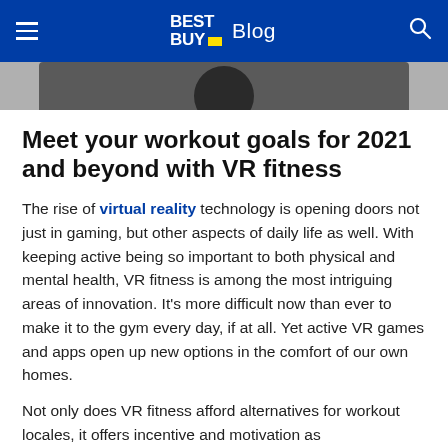BEST BUY Blog
[Figure (photo): Partial hero image of a person wearing a VR headset, cropped at top of page]
Meet your workout goals for 2021 and beyond with VR fitness
The rise of virtual reality technology is opening doors not just in gaming, but other aspects of daily life as well. With keeping active being so important to both physical and mental health, VR fitness is among the most intriguing areas of innovation. It's more difficult now than ever to make it to the gym every day, if at all. Yet active VR games and apps open up new options in the comfort of our own homes.
Not only does VR fitness afford alternatives for workout locales, it offers incentive and motivation as